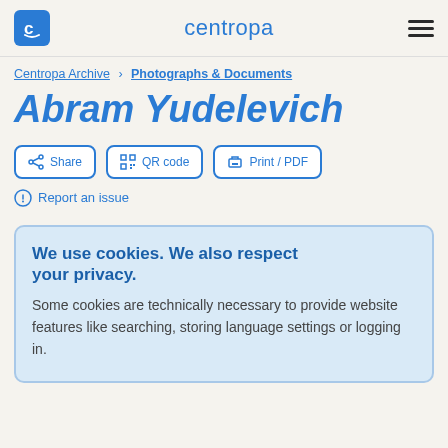centropa
Centropa Archive > Photographs & Documents
Abram Yudelevich
Share | QR code | Print / PDF
Report an issue
We use cookies. We also respect your privacy.
Some cookies are technically necessary to provide website features like searching, storing language settings or logging in.